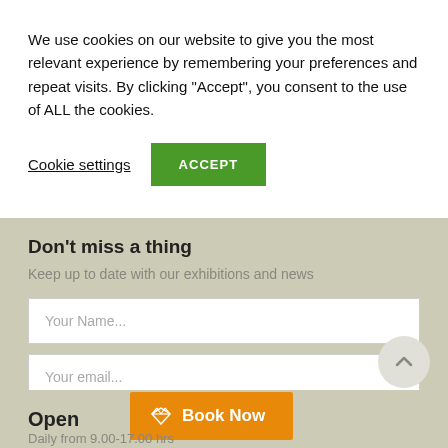We use cookies on our website to give you the most relevant experience by remembering your preferences and repeat visits. By clicking "Accept", you consent to the use of ALL the cookies.
Cookie settings
ACCEPT
Don't miss a thing
Keep up to date with our exhibitions and news
Your Name...
Your email...
Subscribe
Open
Book Now
Daily from 9.00-17.00 hrs